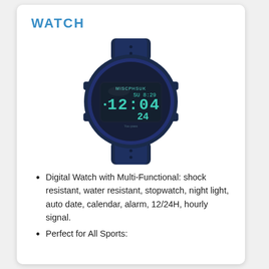WATCH
[Figure (photo): A digital sport watch with dark blue/navy case and band, showing an LCD display with SU 8:29 at top, 12:04 in large digits, and 24 below. Brand name MISCPHSUK visible on the watch face.]
Digital Watch with Multi-Functional: shock resistant, water resistant, stopwatch, night light, auto date, calendar, alarm, 12/24H, hourly signal.
Perfect for All Sports: